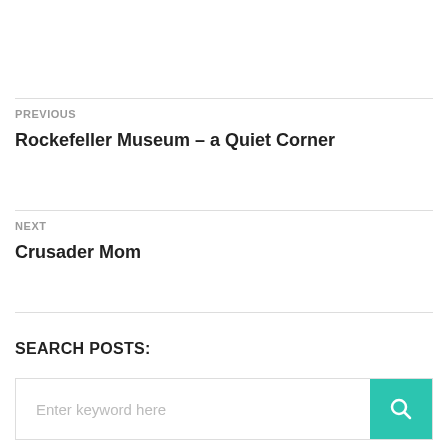PREVIOUS
Rockefeller Museum – a Quiet Corner
NEXT
Crusader Mom
SEARCH POSTS: